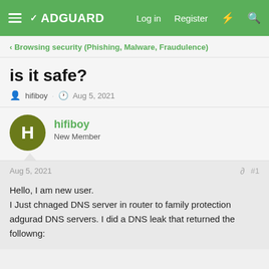ADGUARD | Log in | Register
Browsing security (Phishing, Malware, Fraudulence)
is it safe?
hifiboy · Aug 5, 2021
hifiboy
New Member
Aug 5, 2021  #1
Hello, I am new user.
I Just chnaged DNS server in router to family protection adgurad DNS servers. I did a DNS leak that returned the followng: